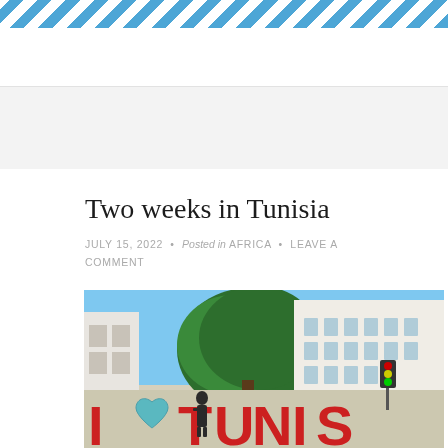[Figure (illustration): Diagonal blue and white stripe banner/decoration at top of page]
Two weeks in Tunisia
JULY 15, 2022 • Posted in AFRICA • LEAVE A COMMENT
[Figure (photo): Outdoor photo showing large red letters spelling 'I [heart] TUNIS' in a public square, with a large green tree in the background, a white colonial-style building on the right, and a person standing in front of the letters. Blue sky visible.]